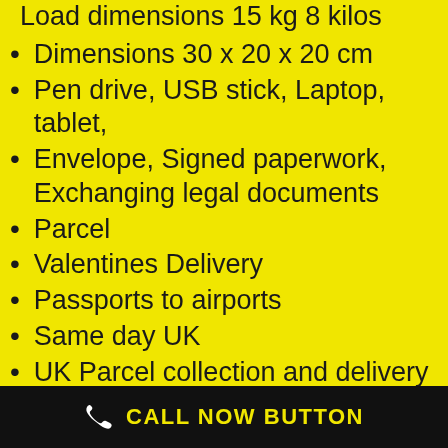Load dimensions 15 kg 8 kilos
Dimensions 30 x 20 x 20 cm
Pen drive, USB stick, Laptop, tablet,
Envelope, Signed paperwork, Exchanging legal documents
Parcel
Valentines Delivery
Passports to airports
Same day UK
UK Parcel collection and delivery company.
CALL NOW BUTTON